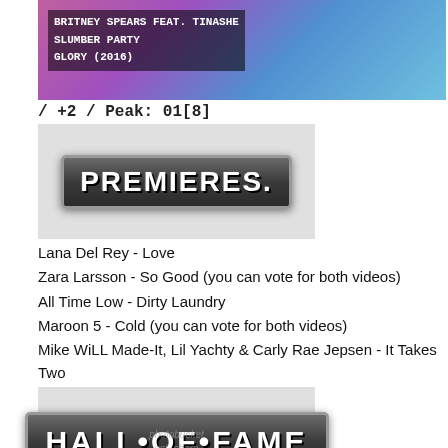[Figure (photo): Music video thumbnail for Britney Spears feat. Tinashe - Slumber Party, Glory (2016). Colorful gradient background with text overlay.]
/ +2 / Peak: 01[8]
[Figure (photo): PREMIERES licence plate style badge image on grey background]
Lana Del Rey - Love
Zara Larsson - So Good (you can vote for both videos)
All Time Low - Dirty Laundry
Maroon 5 - Cold (you can vote for both videos)
Mike WiLL Made-It, Lil Yachty & Carly Rae Jepsen - It Takes Two
[Figure (photo): HALL OF FAME licence plate style badge image on grey background with Photobucket watermark]
01. The Weeknd f/ Daft Punk - Starboy (at #2/01.30.2017/Peak:01[3])
02. twenty one pilots - Heathens (at #4/01.30.2017/Peak:01[2])
03. Ariana Grande f/ Nicki Minaj - Side to Side (at